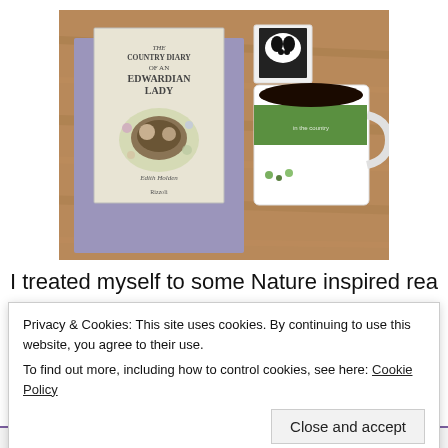[Figure (photo): A photo of 'The Country Diary of an Edwardian Lady' book by Edith Holden (Rizzoli), a mug with country-themed illustration, a dog-themed coaster, all resting on a wooden table.]
I treated myself to some Nature inspired reading this week. I
Privacy & Cookies: This site uses cookies. By continuing to use this website, you agree to their use.
To find out more, including how to control cookies, see here: Cookie Policy
Close and accept